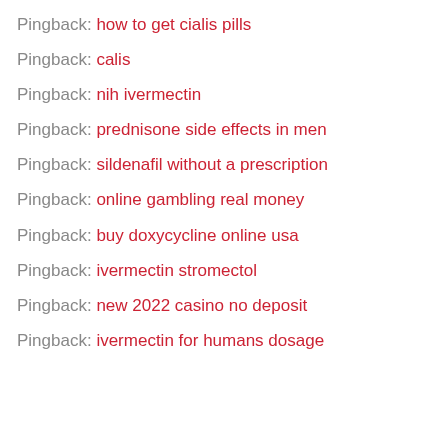Pingback: how to get cialis pills
Pingback: calis
Pingback: nih ivermectin
Pingback: prednisone side effects in men
Pingback: sildenafil without a prescription
Pingback: online gambling real money
Pingback: buy doxycycline online usa
Pingback: ivermectin stromectol
Pingback: new 2022 casino no deposit
Pingback: ivermectin for humans dosage